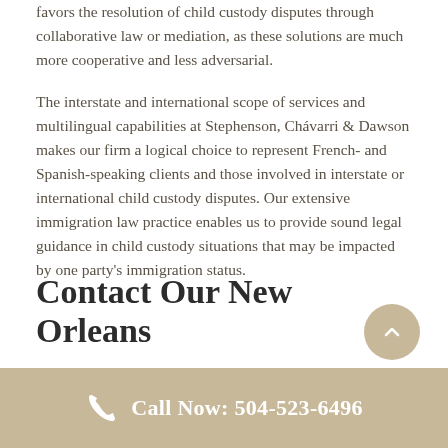favors the resolution of child custody disputes through collaborative law or mediation, as these solutions are much more cooperative and less adversarial.
The interstate and international scope of services and multilingual capabilities at Stephenson, Chávarri & Dawson makes our firm a logical choice to represent French- and Spanish-speaking clients and those involved in interstate or international child custody disputes. Our extensive immigration law practice enables us to provide sound legal guidance in child custody situations that may be impacted by one party's immigration status.
Contact Our New Orleans
Call Now: 504-523-6496